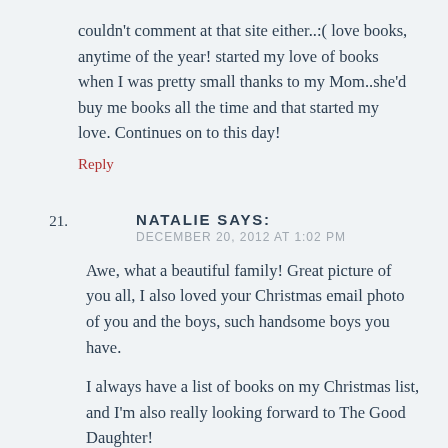couldn't comment at that site either..:( love books, anytime of the year! started my love of books when I was pretty small thanks to my Mom..she'd buy me books all the time and that started my love. Continues on to this day!
Reply
21. NATALIE SAYS:
DECEMBER 20, 2012 AT 1:02 PM
Awe, what a beautiful family! Great picture of you all, I also loved your Christmas email photo of you and the boys, such handsome boys you have.
I always have a list of books on my Christmas list, and I'm also really looking forward to The Good Daughter!
I can't be with my parents this Christmas and it's making me very sad this week...I keep trying to tell myself that you never could be in two places at once.